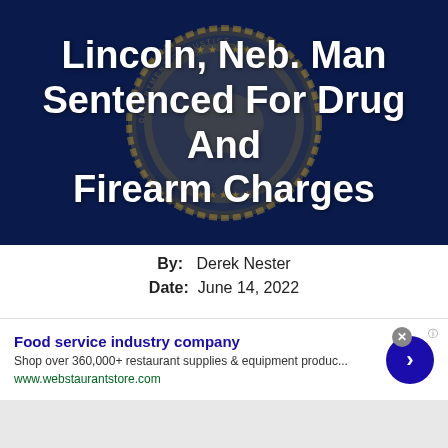[Figure (illustration): Hero banner with dark navy background and Department of Justice seal watermark. White bold text reads: Lincoln, Neb. Man Sentenced For Drug And Firearm Charges]
Lincoln, Neb. Man Sentenced For Drug And Firearm Charges
By:  Derek Nester
Date:  June 14, 2022
- Advertisement -
Acting United States Attorney Steven Russell
Food service industry company
Shop over 360,000+ restaurant supplies & equipment produc...
www.webstaurantstore.com